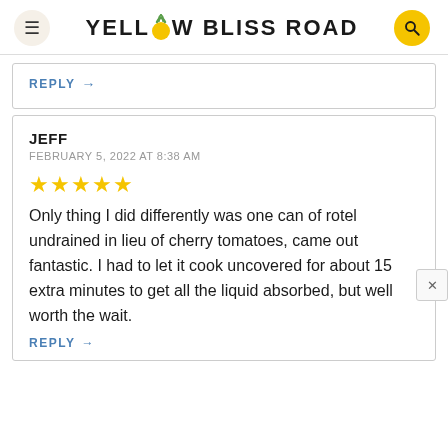Yellow Bliss Road
REPLY →
JEFF
FEBRUARY 5, 2022 AT 8:38 AM
★★★★★
Only thing I did differently was one can of rotel undrained in lieu of cherry tomatoes, came out fantastic. I had to let it cook uncovered for about 15 extra minutes to get all the liquid absorbed, but well worth the wait.
REPLY →